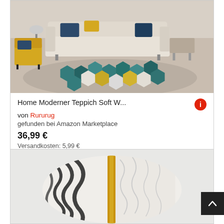[Figure (photo): Product photo of a modern hexagonal pattern area rug in teal, yellow, and white tones displayed in a living room setting with a beige sofa, yellow accent chair, and decorative pillows.]
Home Moderner Teppich Soft W...
von Rururug
gefunden bei Amazon Marketplace
36,99 €
Versandkosten: 5,99 €
[Figure (photo): Product photo of a round rug with zebra stripes pattern and a gold/yellow vertical stripe accent on a white background.]